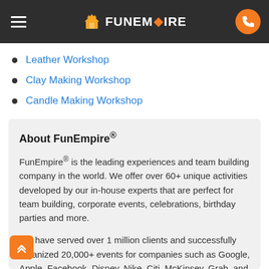FunEmpire
Leather Workshop
Clay Making Workshop
Candle Making Workshop
About FunEmpire®
FunEmpire® is the leading experiences and team building company in the world. We offer over 60+ unique activities developed by our in-house experts that are perfect for team building, corporate events, celebrations, birthday parties and more.
We have served over 1 million clients and successfully organized 20,000+ events for companies such as Google, Apple, Facebook, Disney, Nike, Citi, McKinsey, Grab, and many more.